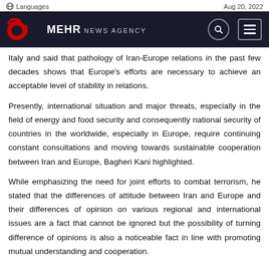Languages | Aug 20, 2022 | MEHR NEWS AGENCY
Italy and said that pathology of Iran-Europe relations in the past few decades shows that Europe's efforts are necessary to achieve an acceptable level of stability in relations.
Presently, international situation and major threats, especially in the field of energy and food security and consequently national security of countries in the worldwide, especially in Europe, require continuing constant consultations and moving towards sustainable cooperation between Iran and Europe, Bagheri Kani highlighted.
While emphasizing the need for joint efforts to combat terrorism, he stated that the differences of attitude between Iran and Europe and their differences of opinion on various regional and international issues are a fact that cannot be ignored but the possibility of turning difference of opinions is also a noticeable fact in line with promoting mutual understanding and cooperation.